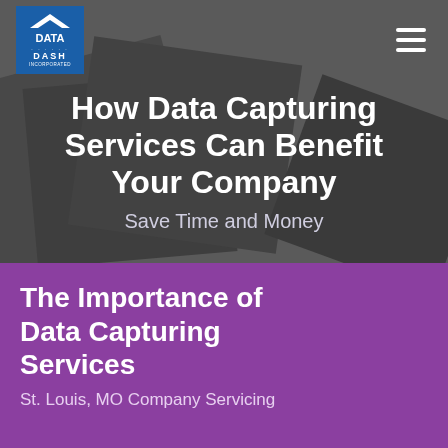[Figure (logo): Data Dash Incorporated logo — blue square with triangle and DATA DASH INCORPORATED text]
How Data Capturing Services Can Benefit Your Company
Save Time and Money
The Importance of Data Capturing Services
St. Louis, MO Company Servicing